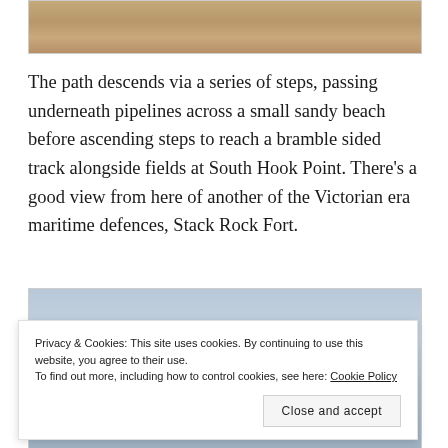[Figure (photo): Top portion of a sandy beach photo, showing sand texture with footprints and sandy surface.]
The path descends via a series of steps, passing underneath pipelines across a small sandy beach before ascending steps to reach a bramble sided track alongside fields at South Hook Point. There’s a good view from here of another of the Victorian era maritime defences, Stack Rock Fort.
[Figure (photo): A coastal scene showing sky and water, partially obscured by a cookie consent banner.]
Privacy & Cookies: This site uses cookies. By continuing to use this website, you agree to their use.
To find out more, including how to control cookies, see here: Cookie Policy
Close and accept